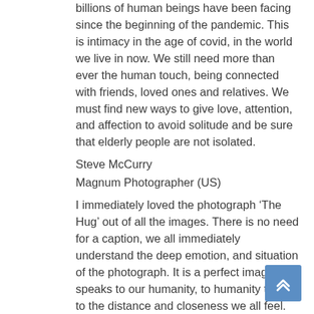billions of human beings have been facing since the beginning of the pandemic. This is intimacy in the age of covid, in the world we live in now. We still need more than ever the human touch, being connected with friends, loved ones and relatives. We must find new ways to give love, attention, and affection to avoid solitude and be sure that elderly people are not isolated.
Steve McCurry
Magnum Photographer (US)
I immediately loved the photograph ‘The Hug’ out of all the images. There is no need for a caption, we all immediately understand the deep emotion, and situation of the photograph. It is a perfect image. It speaks to our humanity, to humanity today, to the distance and closeness we all feel. Even in our most powerful emotions in 2020, there is always a barrier. It achieves what few photographs do; an instant communication that is more powerful than